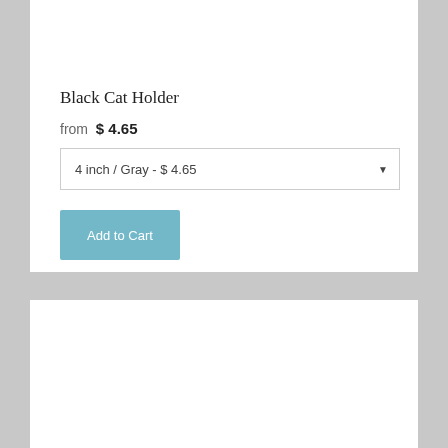Black Cat Holder
from $ 4.65
4 inch / Gray - $ 4.65
Add to Cart
[Figure (other): Partial view of a product image (appears to be a round black item) at the bottom of the second product card]